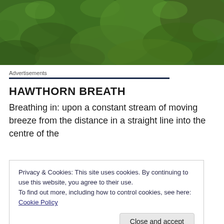[Figure (photo): Green leafy hedge or bush foliage, close-up photograph viewed from above/front, filling the top banner of the page.]
Advertisements
HAWTHORN BREATH
Breathing in: upon a constant stream of moving breeze from the distance in a straight line into the centre of the
Privacy & Cookies: This site uses cookies. By continuing to use this website, you agree to their use.
To find out more, including how to control cookies, see here: Cookie Policy
Close and accept
TREE TEA